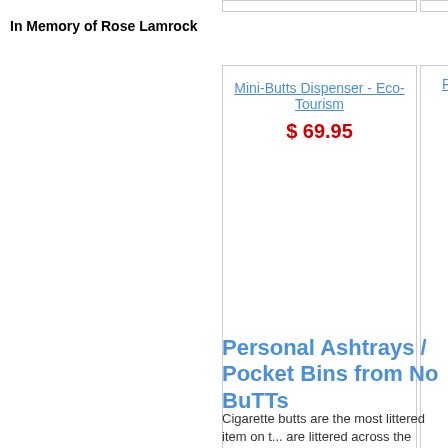In Memory of Rose Lamrock
[Figure (other): Partial product card top bar (left)]
[Figure (other): Partial product card top bar (right)]
Mini-Butts Dispenser - Eco-Tourism
$ 69.95
Person...
Personal Ashtrays / Pocket Bins from No BuTTs
Cigarette butts are the most littered item on t... are littered across the country and they take